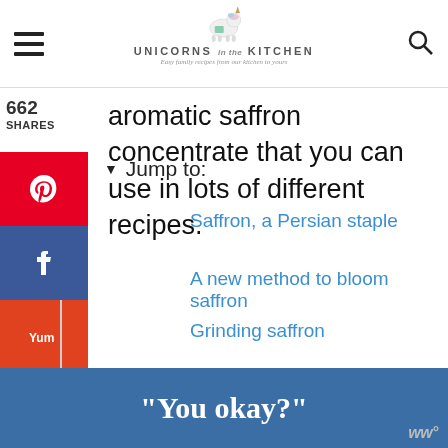Unicorns in the Kitchen — Easy family recipes from our kitchen to yours
aromatic saffron concentrate that you can use in lots of different recipes.
662 SHARES
▼ Jump to:
Saffron, a Persian staple
A new method to bloom saffron
Grinding saffron
"You okay?"